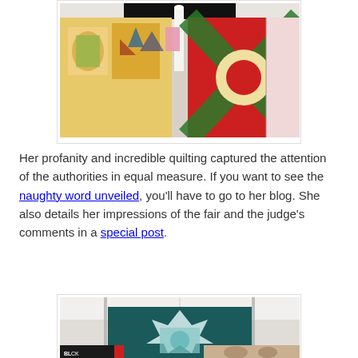[Figure (photo): Photo of quilts hanging at a fair, showing colorful quilts including one with star/pinwheel patterns and a Christmas-themed red and green quilt]
Her profanity and incredible quilting captured the attention of the authorities in equal measure. If you want to see the naughty word unveiled, you'll have to go to her blog. She also details her impressions of the fair and the judge's comments in a special post.
[Figure (photo): Photo of a teal/dark green and white star quilt hanging at a fair, with other quilts visible below including a black and white quilt with red ribbon award]